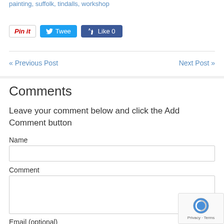painting, suffolk, tindalls, workshop
[Figure (screenshot): Social share buttons: Pin it (Pinterest), Tweet (Twitter), Like 0 (Facebook)]
« Previous Post
Next Post »
Comments
Leave your comment below and click the Add Comment button
Name
Comment
Email (optional)